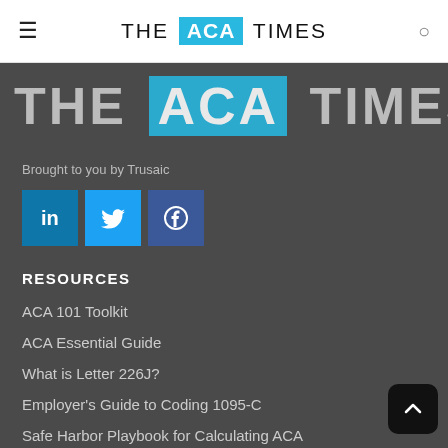THE ACA TIMES
[Figure (logo): The ACA Times large logo on dark background, with ACA in a cyan/blue box]
Brought to you by Trusaic
[Figure (illustration): Social media icons: LinkedIn (blue), Twitter (light blue), Facebook (dark blue)]
RESOURCES
ACA 101 Toolkit
ACA Essential Guide
What is Letter 226J?
Employer's Guide to Coding 1095-C
Safe Harbor Playbook for Calculating ACA Affordability